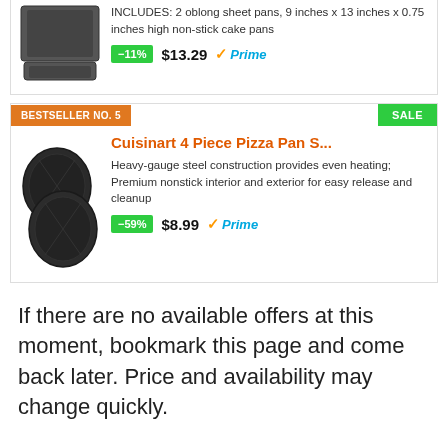[Figure (photo): Dark oblong baking sheet pans product image]
INCLUDES: 2 oblong sheet pans, 9 inches x 13 inches x 0.75 inches high non-stick cake pans
-11%  $13.29  Prime
BESTSELLER NO. 5
SALE
[Figure (photo): Cuisinart 4 piece pizza pan set product image showing dark round pizza pans]
Cuisinart 4 Piece Pizza Pan S...
Heavy-gauge steel construction provides even heating; Premium nonstick interior and exterior for easy release and cleanup
-59%  $8.99  Prime
If there are no available offers at this moment, bookmark this page and come back later. Price and availability may change quickly.